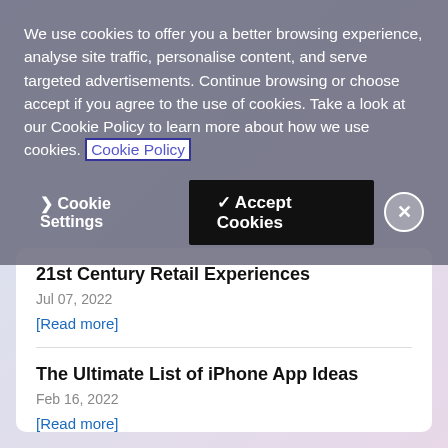We use cookies to offer you a better browsing experience, analyse site traffic, personalise content, and serve targeted advertisements. Continue browsing or choose accept if you agree to the use of cookies. Take a look at our Cookie Policy to learn more about how we use cookies. Cookie Policy
❯ Cookie Settings  ✓ Accept Cookies  ✕
21st Century Retail Experiences
Jul 07, 2022
[Read more]
The Ultimate List of iPhone App Ideas
Feb 16, 2022
[Read more]